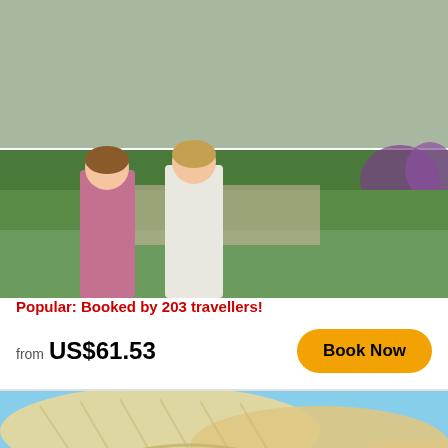[Figure (photo): Two women standing in a garden with green hedges and purple flowers in the background]
Highlights & Hidden Gems With Locals: Best of Seville Private Tour
60 reviews
Taking safety measures
Popular: Booked by 203 travellers!
from US$61.53
Book Now
[Figure (photo): Two people posing under the Metropol Parasol (Las Setas) structure in Seville, Spain]